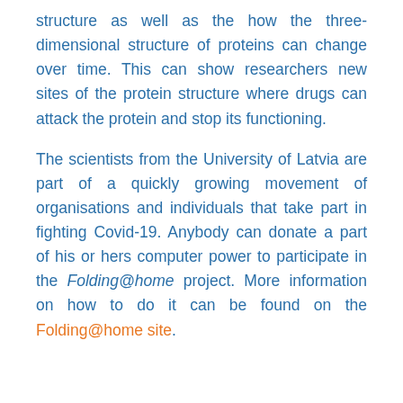structure as well as the how the three-dimensional structure of proteins can change over time. This can show researchers new sites of the protein structure where drugs can attack the protein and stop its functioning.
The scientists from the University of Latvia are part of a quickly growing movement of organisations and individuals that take part in fighting Covid-19. Anybody can donate a part of his or hers computer power to participate in the Folding@home project. More information on how to do it can be found on the Folding@home site.